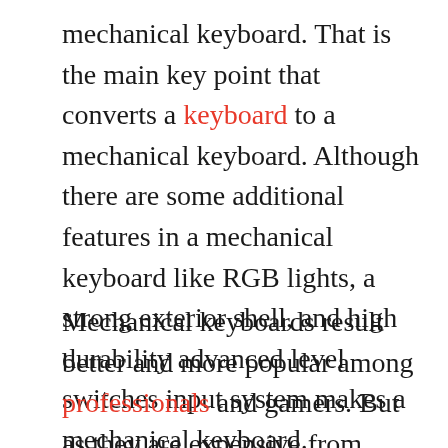mechanical keyboard. That is the main key point that converts a keyboard to a mechanical keyboard. Although there are some additional features in a mechanical keyboard like RGB lights, a strong exterior shell, and high durability advanced level switches input system makes a mechanical keyboard.
Mechanical keyboards result better and more popular among professionals and gamers. But as they are expensive from scissor keyboards and ordinary keyboards they are less common for